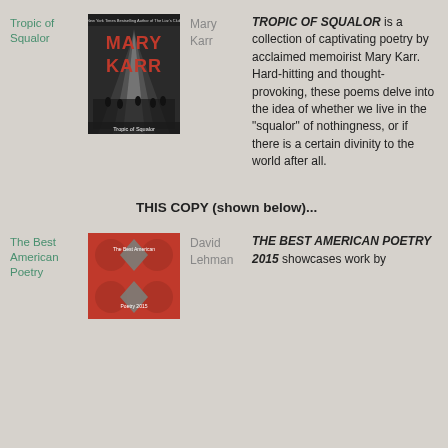Tropic of Squalor
[Figure (photo): Book cover of Tropic of Squalor by Mary Karr — black and white photo of a grand hall with figures, red title text MARY KARR at top, subtitle 'Tropic of Squalor' at bottom]
Mary Karr
TROPIC OF SQUALOR is a collection of captivating poetry by acclaimed memoirist Mary Karr. Hard-hitting and thought-provoking, these poems delve into the idea of whether we live in the "squalor" of nothingness, or if there is a certain divinity to the world after all.
THIS COPY (shown below)...
The Best American Poetry
[Figure (photo): Book cover of The Best American Poetry 2015 — red cover with geometric diamond/circle pattern in dark red and grey]
David Lehman
THE BEST AMERICAN POETRY 2015 showcases work by